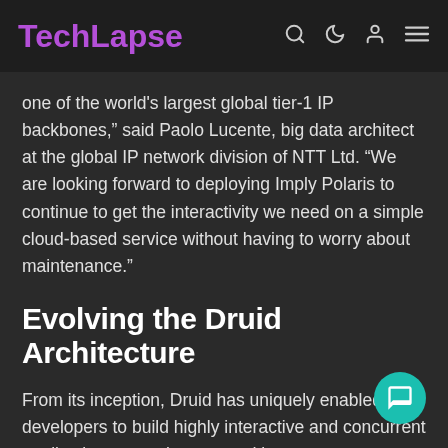TechLapse
one of the world’s largest global tier-1 IP backbones,” said Paolo Lucente, big data architect at the global IP network division of NTT Ltd. “We are looking forward to deploying Imply Polaris to continue to get the interactivity we need on a simple cloud-based service without having to worry about maintenance.”
Evolving the Druid Architecture
From its inception, Druid has uniquely enabled developers to build highly interactive and concurrent applications at scale, powered by a